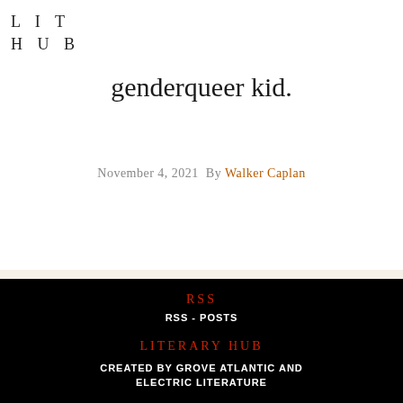LIT HUB
genderqueer kid.
November 4, 2021  By Walker Caplan
« FIRST ‹ PREVIOUS 3 4 5 6 7 8 9 10 11 NEXT › LAST »
RSS
RSS - POSTS
LITERARY HUB
CREATED BY GROVE ATLANTIC AND ELECTRIC LITERATURE